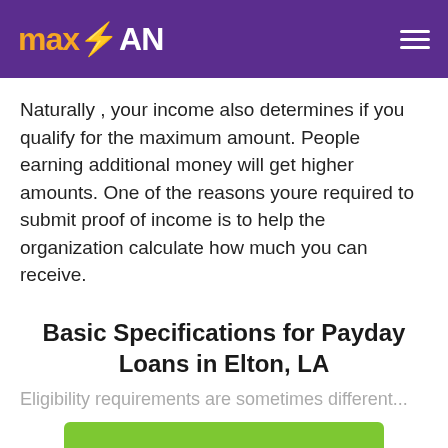maxLOAN
Naturally , your income also determines if you qualify for the maximum amount. People earning additional money will get higher amounts. One of the reasons youre required to submit proof of income is to help the organization calculate how much you can receive.
Basic Specifications for Payday Loans in Elton, LA
Eligibility requirements are ...
Apply Now
Applying does NOT affect your credit score!
No credit check to apply.